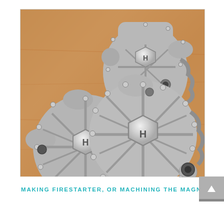[Figure (photo): Three Honda magnesium engine/generator covers arranged overlapping on a wooden surface. The covers are cast metal (magnesium alloy), grey in color, with raised ribs, bolt holes around the perimeter, and a central hexagonal plug/cap with an 'H' Honda logo embossed. Two covers are viewed from front showing circular pattern with spoked ribs; one partially visible in back-left.]
MAKING FIRESTARTER, OR MACHINING THE MAGNESIUM CA...